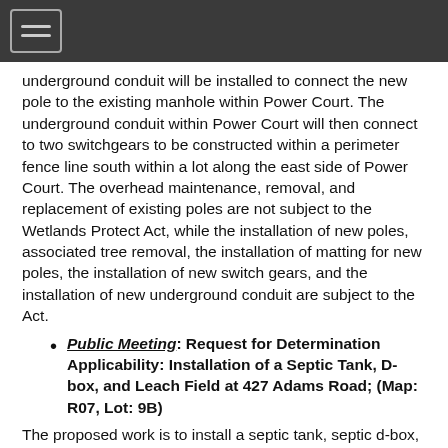[hamburger menu icon]
underground conduit will be installed to connect the new pole to the existing manhole within Power Court. The underground conduit within Power Court will then connect to two switchgears to be constructed within a perimeter fence line south within a lot along the east side of Power Court. The overhead maintenance, removal, and replacement of existing poles are not subject to the Wetlands Protect Act, while the installation of new poles, associated tree removal, the installation of matting for new poles, the installation of new switch gears, and the installation of new underground conduit are subject to the Act.
Public Meeting: Request for Determination Applicability: Installation of a Septic Tank, D-box, and Leach Field at 427 Adams Road; (Map: R07, Lot: 9B)
The proposed work is to install a septic tank, septic d-box, and leach field, as well as properly abondon the failed components. There are flags indicating the BVW shown on the design plan, which were put in by Ward Smith on May 4,